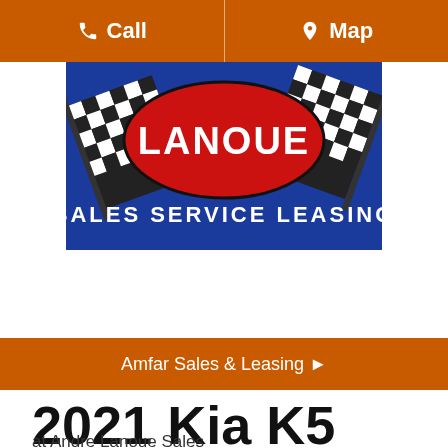Call  Map
[Figure (logo): Andre Lanoue Sales Service Leasing logo — red oval with LANOUE text flanked by black and white checkered racing flags on a dark blue background, with SALES SERVICE LEASING text below]
[Figure (other): Hamburger menu button (three horizontal lines) in a rounded rectangle]
Amfar Sales & Leasing ▶
2021 Kia K5
at Andre Lanoue Sales